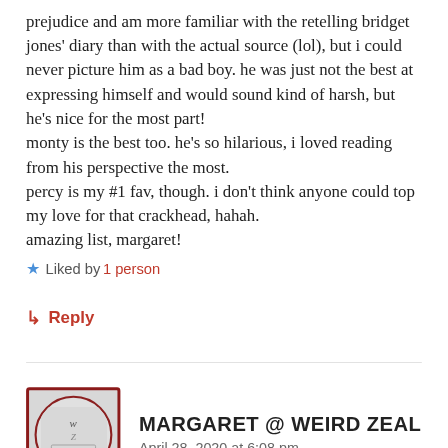prejudice and am more familiar with the retelling bridget jones' diary than with the actual source (lol), but i could never picture him as a bad boy. he was just not the best at expressing himself and would sound kind of harsh, but he's nice for the most part!
monty is the best too. he's so hilarious, i loved reading from his perspective the most.
percy is my #1 fav, though. i don't think anyone could top my love for that crackhead, hahah.
amazing list, margaret!
Liked by 1 person
↳ Reply
MARGARET @ WEIRD ZEAL
April 28, 2020 at 6:08 pm